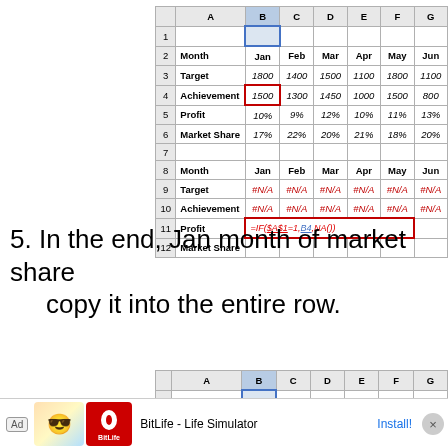[Figure (screenshot): Excel spreadsheet showing Month, Target, Achievement, Profit, Market Share data for Jan-Jun with a second table below showing #N/A errors and a formula =IF($A$1=1,B4,NA()) in cell B11]
5. In the end, Jan month of market share copy it into the entire row.
[Figure (screenshot): Excel spreadsheet showing Month, Target, Achievement, Profit, Market Share data for Jan-Jun with Market Share row 6 Jan cell selected with red border showing 17%]
[Figure (screenshot): Ad banner for BitLife - Life Simulator]